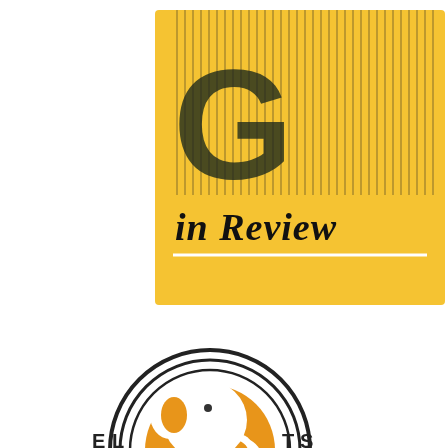[Figure (logo): Geek in Review podcast logo: yellow/gold square background with large stylized 'GEEK' letters in dark olive/green with vertical line texture overlay, below which reads 'in Review' in bold black italic serif text, with a white horizontal line separator beneath]
[Figure (logo): Partial circular logo with concentric arcs in dark outline, orange filled semicircle containing a white elephant head silhouette, with partial text visible on the left and right sides of the arc]